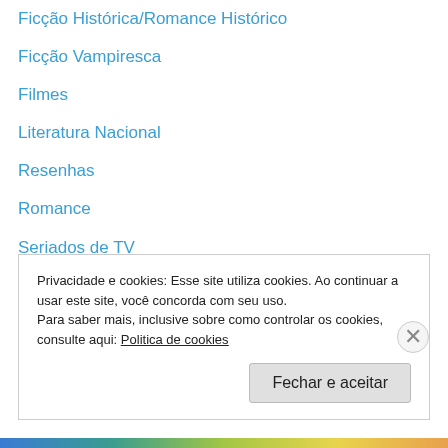Ficção Histórica/Romance Histórico
Ficção Vampiresca
Filmes
Literatura Nacional
Resenhas
Romance
Seriados de TV
Stephen King
Suspense/Terror
Uncategorized
Privacidade e cookies: Esse site utiliza cookies. Ao continuar a usar este site, você concorda com seu uso. Para saber mais, inclusive sobre como controlar os cookies, consulte aqui: Politica de cookies
Fechar e aceitar